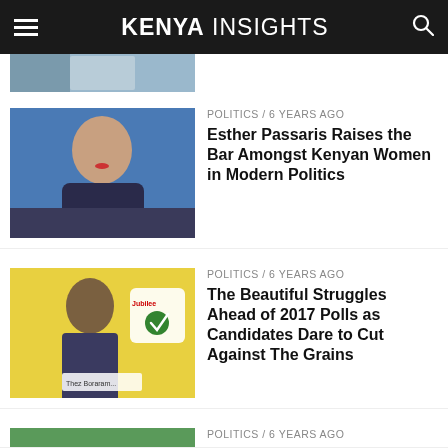KENYA INSIGHTS
[Figure (photo): Partially visible thumbnail image at top]
POLITICS / 6 years ago
Esther Passaris Raises the Bar Amongst Kenyan Women in Modern Politics
[Figure (photo): Portrait photo of Esther Passaris, a woman with dark hair and red lipstick]
POLITICS / 6 years ago
The Beautiful Struggles Ahead of 2017 Polls as Candidates Dare to Cut Against The Grains
[Figure (photo): Jubilee party campaign poster with candidate in suit]
POLITICS / 6 years ago
Now That The Jubilee Party Merger Celebrations Are Over, Reality Checks In
[Figure (photo): Stadium event photo with crowds and people on stage]
OPINION / 6 years ago
Self-Censorship: To Say That Kenyan Media is In Love With The Politicians is An Understatement
[Figure (photo): Camera and newspapers photo]